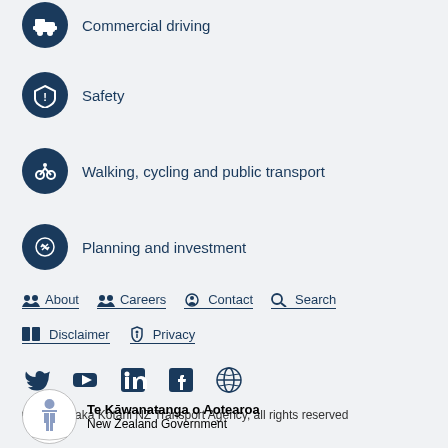Commercial driving
Safety
Walking, cycling and public transport
Planning and investment
About  Careers  Contact  Search
Disclaimer  Privacy
[Figure (other): Social media icons: Twitter, YouTube, LinkedIn, Facebook, and an accessibility/globe icon]
© 2022 Waka Kotahi NZ Transport Agency, all rights reserved
[Figure (logo): New Zealand Government coat of arms logo with text Te Kāwanatanga o Aotearoa / New Zealand Government]